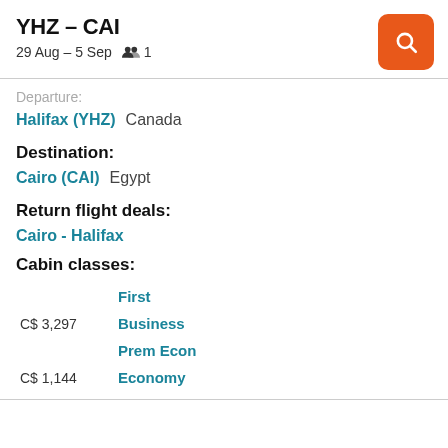YHZ – CAI
29 Aug – 5 Sep   👥 1
Departure:
Halifax (YHZ)   Canada
Destination:
Cairo (CAI)   Egypt
Return flight deals:
Cairo - Halifax
Cabin classes:
| Price | Cabin |
| --- | --- |
|  | First |
| C$ 3,297 | Business |
|  | Prem Econ |
| C$ 1,144 | Economy |